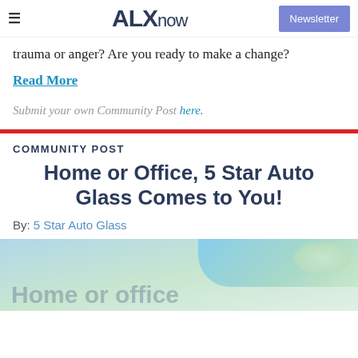ALXnow — Newsletter
trauma or anger? Are you ready to make a change?
Read More
Submit your own Community Post here.
COMMUNITY POST
Home or Office, 5 Star Auto Glass Comes to You!
By: 5 Star Auto Glass
[Figure (photo): Partial view of an auto glass image with text overlay 'Home or office']